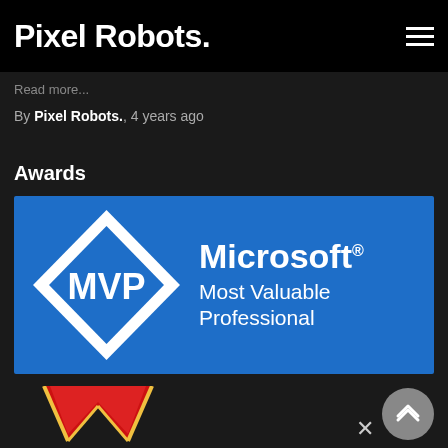Pixel Robots.
Read more...
By Pixel Robots., 4 years ago
Awards
[Figure (logo): Microsoft MVP Most Valuable Professional logo: blue rectangle with a white diamond shape containing blue text 'MVP', next to white text 'Microsoft® Most Valuable Professional']
[Figure (logo): Partial view of a red and yellow W-shaped award logo at the bottom of the page]